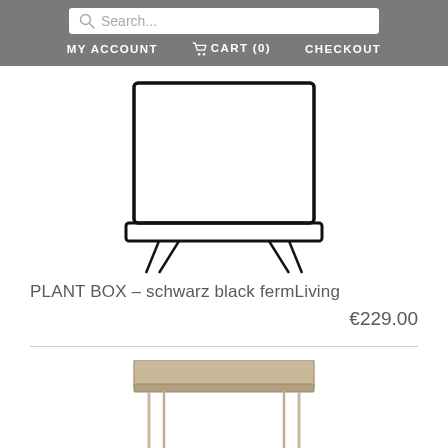Search... | MY ACCOUNT | CART (0) | CHECKOUT
[Figure (photo): Line drawing / outline illustration of a PLANT BOX – schwarz black fermLiving product, showing a rectangular wire frame planter with cross-leg stand base, black, viewed from front-angle]
PLANT BOX – schwarz black fermLiving
€229.00
[Figure (photo): Partial photo of a second product — a tan/beige metal tray table with slim wire legs, partially visible at the bottom of the page]